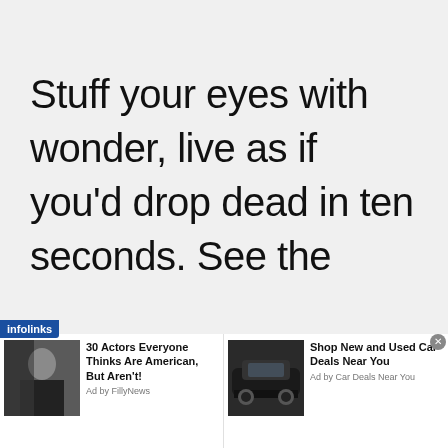Stuff your eyes with wonder, live as if you'd drop dead in ten seconds. See the
[Figure (screenshot): Infolinks ad bar with two ads: '30 Actors Everyone Thinks Are American, But Aren't!' by FillyNews, and 'Shop New and Used Car Deals Near You' by Car Deals Near You]
30 Actors Everyone Thinks Are American, But Aren't!
Ad by FillyNews
Shop New and Used Car Deals Near You
Ad by Car Deals Near You